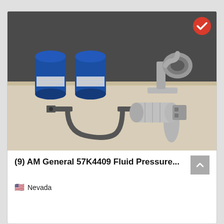[Figure (photo): Photo of AM General 57K4409 fluid pressure parts laid out on a table: two blue ACDelco oil filters, a metal bracket/clamp assembly, a silver die-cast part (horn or junction piece), and a cylindrical aluminum canister component. A red checkmark badge is visible in the top-right corner of the image.]
(9) AM General 57K4409 Fluid Pressure...
Nevada